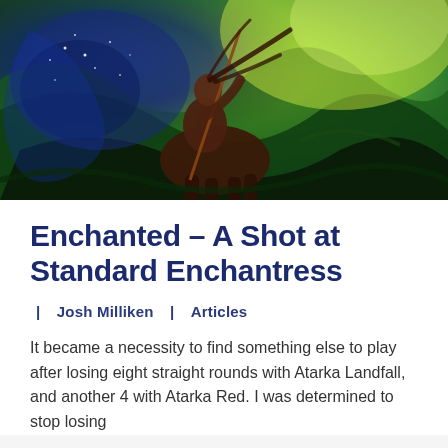[Figure (illustration): Fantasy illustration of a centaur-like figure holding a spear, surrounded by swirling green and blue cosmic/magical background with stars and flowing organic shapes]
Enchanted – A Shot at Standard Enchantress
| Josh Milliken | Articles
It became a necessity to find something else to play after losing eight straight rounds with Atarka Landfall, and another 4 with Atarka Red. I was determined to stop losing